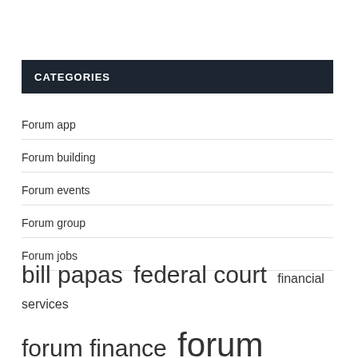CATEGORIES
Forum app
Forum building
Forum events
Forum group
Forum jobs
bill papas  federal court  financial services  forum finance  forum group  high interest  interest rate  managed services  managing director  papas forum  payday loans  personal loan  service provider  short term